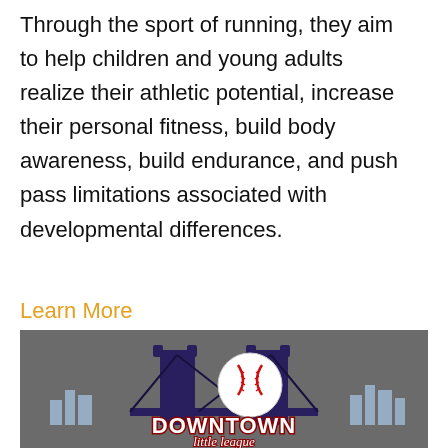Through the sport of running, they aim to help children and young adults realize their athletic potential, increase their personal fitness, build body awareness, build endurance, and push pass limitations associated with developmental differences.
Learn More
[Figure (logo): Downtown Little League logo on a dark gray background, featuring a stylized Brooklyn Bridge with a baseball and city skyline]